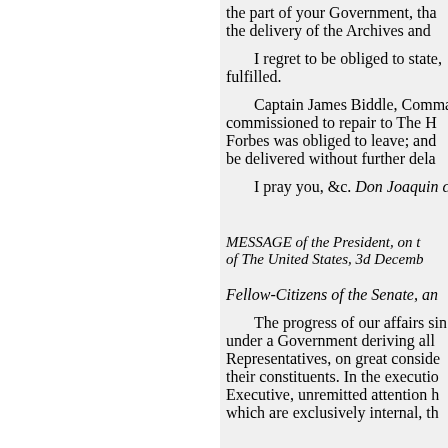the part of your Government, that the delivery of the Archives and
I regret to be obliged to state, fulfilled.
Captain James Biddle, Comma commissioned to repair to The H Forbes was obliged to leave; and be delivered without further dela
I pray you, &c. Don Joaquin c
MESSAGE of the President, on t of The United States, 3d Decemb
Fellow-Citizens of the Senate, an
The progress of our affairs sin under a Government deriving all Representatives, on great conside their constituents. In the executio Executive, unremitted attention h which are exclusively internal, th